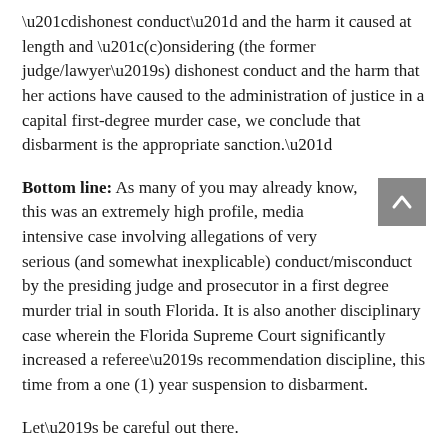“dishonest conduct” and the harm it caused at length and “(c)onsidering (the former judge/lawyer’s) dishonest conduct and the harm that her actions have caused to the administration of justice in a capital first-degree murder case, we conclude that disbarment is the appropriate sanction.”
Bottom line: As many of you may already know, this was an extremely high profile, media intensive case involving allegations of very serious (and somewhat inexplicable) conduct/misconduct by the presiding judge and prosecutor in a first degree murder trial in south Florida. It is also another disciplinary case wherein the Florida Supreme Court significantly increased a referee’s recommendation discipline, this time from a one (1) year suspension to disbarment.
Let’s be careful out there.
Disclaimer: this Ethics Alert blog is not an advertisement and does not contain any legal advice and the comments herein